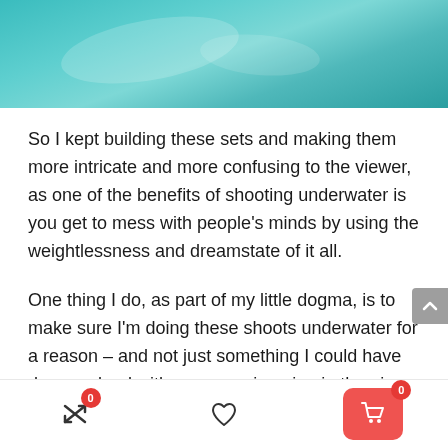[Figure (photo): Underwater photo showing teal/turquoise water surface with light reflections and bubbles]
So I kept building these sets and making them more intricate and more confusing to the viewer, as one of the benefits of shooting underwater is you get to mess with people's minds by using the weightlessness and dreamstate of it all.
One thing I do, as part of my little dogma, is to make sure I'm doing these shoots underwater for a reason – and not just something I could have done on land with someone jumping in the air. There has to be a specific watery element to it all, like having the
0  [heart icon]  0 [cart icon]